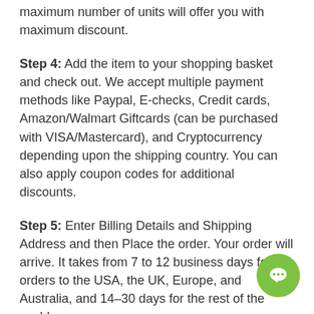maximum number of units will offer you with maximum discount.
Step 4: Add the item to your shopping basket and check out. We accept multiple payment methods like Paypal, E-checks, Credit cards, Amazon/Walmart Giftcards (can be purchased with VISA/Mastercard), and Cryptocurrency depending upon the shipping country. You can also apply coupon codes for additional discounts.
Step 5: Enter Billing Details and Shipping Address and then Place the order. Your order will arrive. It takes from 7 to 12 business days for orders to the USA, the UK, Europe, and Australia, and 14-30 days for the rest of the world.
How to Buy Bimatoprost online using Bitcoin / Altcoin.
(Skinorac offers a 10% discount for crypto payments. there is a 10% returning customer discount when you buy Careprost online from Skinorac).